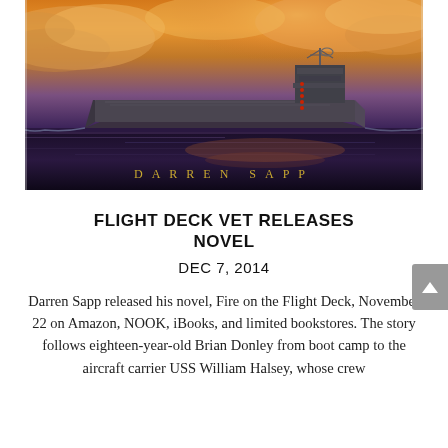[Figure (photo): Book cover image showing an aircraft carrier at sea under a dramatic orange and purple sunset sky, with the author name DARREN SAPP in gold spaced lettering across the bottom of the image.]
FLIGHT DECK VET RELEASES NOVEL
DEC 7, 2014
Darren Sapp released his novel, Fire on the Flight Deck, November 22 on Amazon, NOOK, iBooks, and limited bookstores. The story follows eighteen-year-old Brian Donley from boot camp to the aircraft carrier USS William Halsey, whose crew